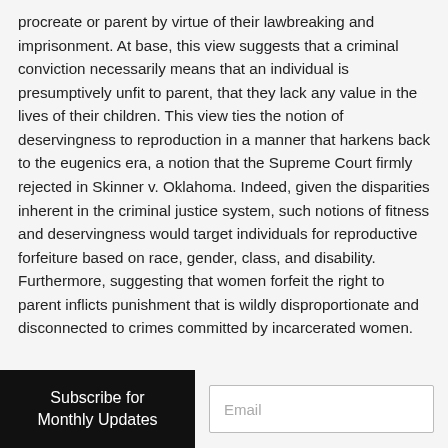procreate or parent by virtue of their lawbreaking and imprisonment. At base, this view suggests that a criminal conviction necessarily means that an individual is presumptively unfit to parent, that they lack any value in the lives of their children. This view ties the notion of deservingness to reproduction in a manner that harkens back to the eugenics era, a notion that the Supreme Court firmly rejected in Skinner v. Oklahoma. Indeed, given the disparities inherent in the criminal justice system, such notions of fitness and deservingness would target individuals for reproductive forfeiture based on race, gender, class, and disability. Furthermore, suggesting that women forfeit the right to parent inflicts punishment that is wildly disproportionate and disconnected to crimes committed by incarcerated women.
Subscribe for Monthly Updates
Email